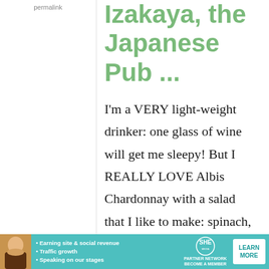permalink
Izakaya, the Japanese Pub ...
I'm a VERY light-weight drinker: one glass of wine will get me sleepy! But I REALLY LOVE Albis Chardonnay with a salad that I like to make: spinach,
[Figure (infographic): SHE Partner Network advertisement banner with woman photo, bullet points about earning site & social revenue, traffic growth, speaking on our stages, SHE logo, and LEARN MORE button]